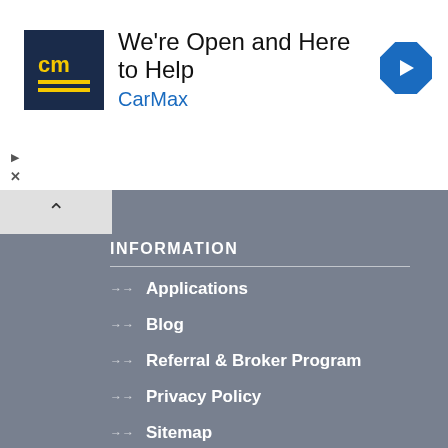[Figure (logo): CarMax advertisement banner with CM logo, text 'We're Open and Here to Help', 'CarMax' in blue, and a navigation arrow icon]
INFORMATION
Applications
Blog
Referral & Broker Program
Privacy Policy
Sitemap